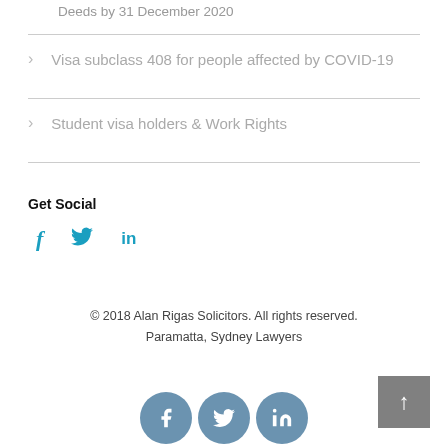Deeds by 31 December 2020
Visa subclass 408 for people affected by COVID-19
Student visa holders & Work Rights
Get Social
[Figure (illustration): Social media icons: Facebook (f), Twitter (bird), LinkedIn (in) in teal/blue color]
© 2018 Alan Rigas Solicitors. All rights reserved.
Paramatta, Sydney Lawyers
[Figure (illustration): Three circular social media icons: Facebook, Twitter, LinkedIn in steel blue, plus a grey back-to-top arrow button]